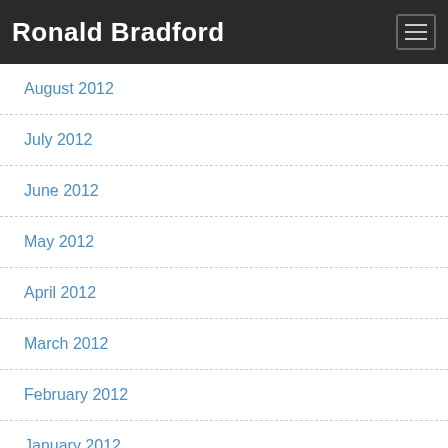Ronald Bradford
August 2012
July 2012
June 2012
May 2012
April 2012
March 2012
February 2012
January 2012
December 2011
November 2011